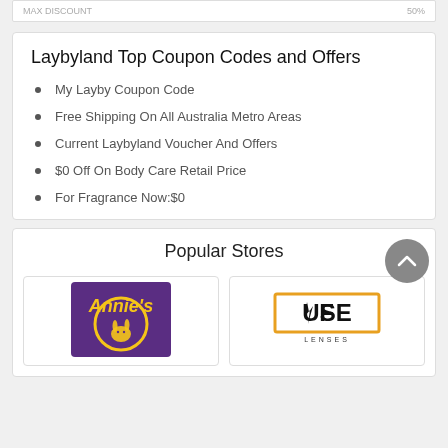Laybyland Top Coupon Codes and Offers
My Layby Coupon Code
Free Shipping On All Australia Metro Areas
Current Laybyland Voucher And Offers
$0 Off On Body Care Retail Price
For Fragrance Now:$0
Popular Stores
[Figure (logo): Annie's brand logo - purple background with yellow text and rabbit illustration]
[Figure (logo): Fuse Lenses logo - black bold text with orange border, LENSES subtitle]